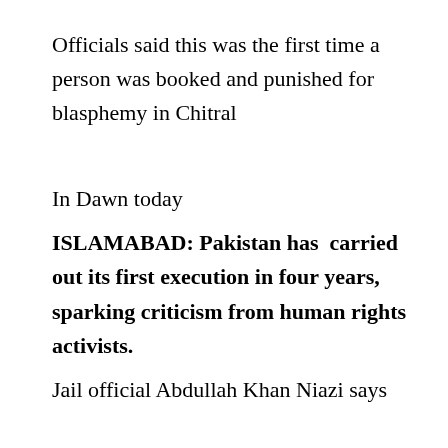Officials said this was the first time a person was booked and punished for blasphemy in Chitral
In Dawn today
ISLAMABAD: Pakistan has carried out its first execution in four years, sparking criticism from human rights activists.
Jail official Abdullah Khan Niazi says